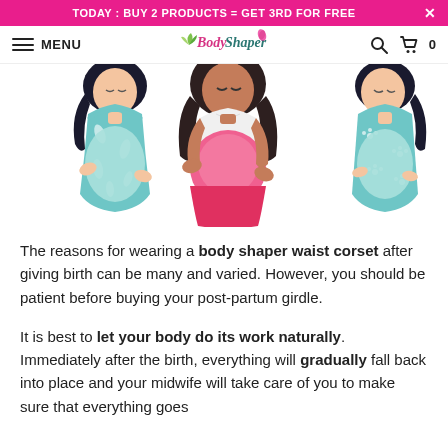TODAY : BUY 2 PRODUCTS = GET 3RD FOR FREE
MENU | Body Shaper logo | search | cart 0
[Figure (illustration): Three illustrated pregnant women holding their baby bumps. Left figure wears a teal floral dress, center figure wears a white top with pink maternity pants, right figure wears a teal floral dress. All have dark hair and are shown from the waist up.]
The reasons for wearing a body shaper waist corset after giving birth can be many and varied. However, you should be patient before buying your post-partum girdle.
It is best to let your body do its work naturally. Immediately after the birth, everything will gradually fall back into place and your midwife will take care of you to make sure that everything goes